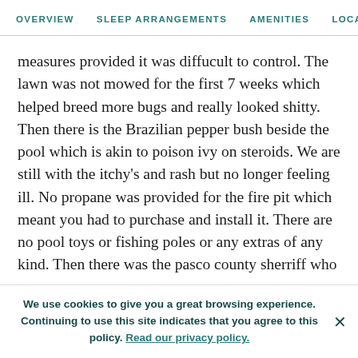OVERVIEW   SLEEP ARRANGEMENTS   AMENITIES   LOCATION
measures provided it was diffucult to control. The lawn was not mowed for the first 7 weeks which helped breed more bugs and really looked shitty. Then there is the Brazilian pepper bush beside the pool which is akin to poison ivy on steroids. We are still with the itchy's and rash but no longer feeling ill. No propane was provided for the fire pit which meant you had to purchase and install it. There are no pool toys or fishing poles or any extras of any kind. Then there was the pasco county sherriff who
We use cookies to give you a great browsing experience. Continuing to use this site indicates that you agree to this policy. Read our privacy policy.